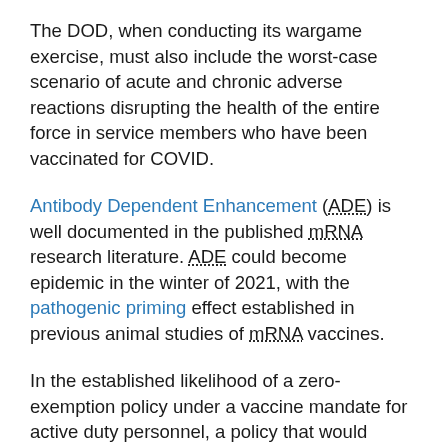The DOD, when conducting its wargame exercise, must also include the worst-case scenario of acute and chronic adverse reactions disrupting the health of the entire force in service members who have been vaccinated for COVID.
Antibody Dependent Enhancement (ADE) is well documented in the published mRNA research literature. ADE could become epidemic in the winter of 2021, with the pathogenic priming effect established in previous animal studies of mRNA vaccines.
In the established likelihood of a zero-exemption policy under a vaccine mandate for active duty personnel, a policy that would reinforce readiness